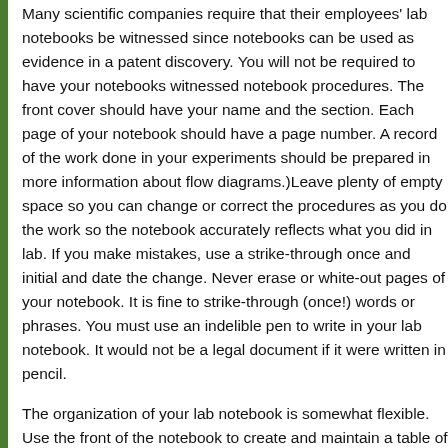Many scientific companies require that their employees' lab notebooks be witnessed since notebooks can be used as evidence in a patent discovery. You will not be required to have your notebooks witnessed notebook procedures. The front cover should have your name and the section. Each page of your notebook should have a page number. A record of the work done in your experiments should be prepared in more information about flow diagrams.)Leave plenty of empty space so you can change or correct the procedures as you do the work so the notebook accurately reflects what you did in lab. If you make mistakes, use a strike-through once and initial and date the change. Never erase or white-out pages of your notebook. It is fine to strike-through (once!) words or phrases. You must use an indelible pen to write in your lab notebook. It would not be a legal document if it were written in pencil.
The organization of your lab notebook is somewhat flexible. Use the front of the notebook to create and maintain a table of contents. A schematic diagram of the procedure (called a "flow diagram") with the results of the guidelines for the procedures.